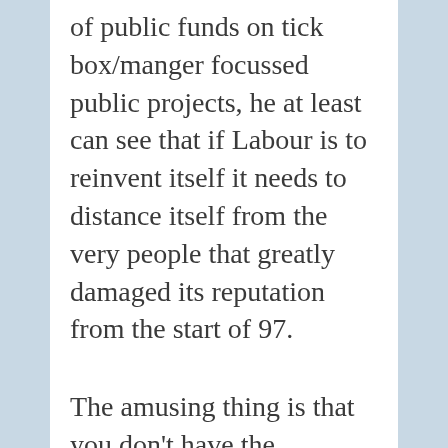of public funds on tick box/manger focussed public projects, he at least can see that if Labour is to reinvent itself it needs to distance itself from the very people that greatly damaged its reputation from the start of 97.
The amusing thing is that you don't have the intelligence to understand that you are, along with the likes of Balls and Mandleson, one of